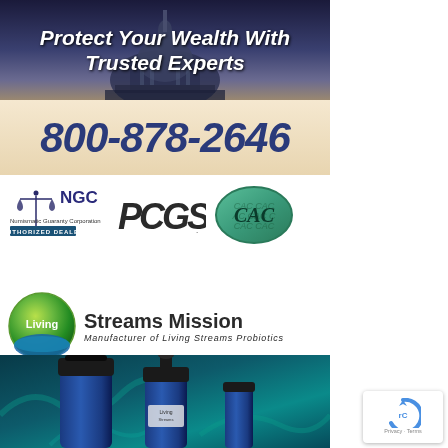[Figure (infographic): Advertisement banner with US Capitol building background and text 'Protect Your Wealth With Trusted Experts']
[Figure (infographic): Phone number advertisement bar showing 800-878-2646 in large dark blue text on cream/tan background]
[Figure (logo): NGC Numismatic Guaranty Corporation Authorized Dealer logo, PCGS logo, and CAC (Certified Acceptance Corporation) oval logo in a row]
[Figure (logo): Living Streams Mission logo - circular green/blue icon with text 'Living' inside, beside text 'Streams Mission' and subtitle 'Manufacturer of Living Streams Probiotics']
[Figure (photo): Probiotic product bottles (blue glass dropper bottles) on teal/aqua background with microscopic bacteria imagery]